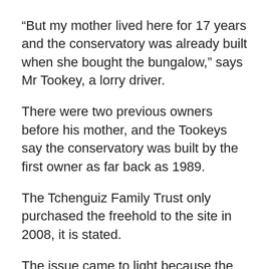“But my mother lived here for 17 years and the conservatory was already built when she bought the bungalow,” says Mr Tookey, a lorry driver.
There were two previous owners before his mother, and the Tookeys say the conservatory was built by the first owner as far back as 1989.
The Tchenguiz Family Trust only purchased the freehold to the site in 2008, it is stated.
The issue came to light because the Tookeys were trying to sell the bungalow